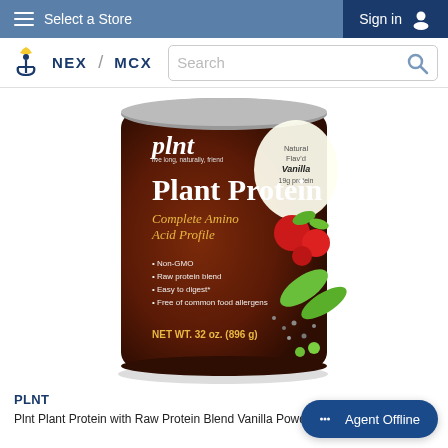Select a Store   Sign in
[Figure (logo): NEX / MCX logo with anchor icon and search bar]
[Figure (photo): PLNT Plant Protein powder container, brown canister, 32 oz (896g), Vanilla flavor, Complete Amino Acid Profile, Non-GMO, Raw protein blend, Easy to digest, Free of common food allergens]
PLNT
Plnt Plant Protein with Raw Protein Blend Vanilla Powder 32